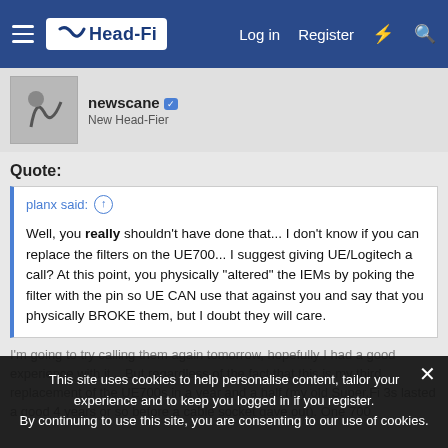Head-Fi — Log in | Register
newscane · New Head-Fier
Quote:
planx said: ↑

Well, you really shouldn't have done that... I don't know if you can replace the filters on the UE700... I suggest giving UE/Logitech a call? At this point, you physically "altered" the IEMs by poking the filter with the pin so UE CAN use that against you and say that you physically BROKE them, but I doubt they will care.
I'm going to try calling them again tomorrow, hopefully I had a good experience with it... But regardless of the fact that this is my third replacement of the UE700s in a year and a half (my old Super.Fi 3s lasted a good 4 years or so before a cable socket gave out). One 700
This site uses cookies to help personalise content, tailor your experience and to keep you logged in if you register. By continuing to use this site, you are consenting to our use of cookies.